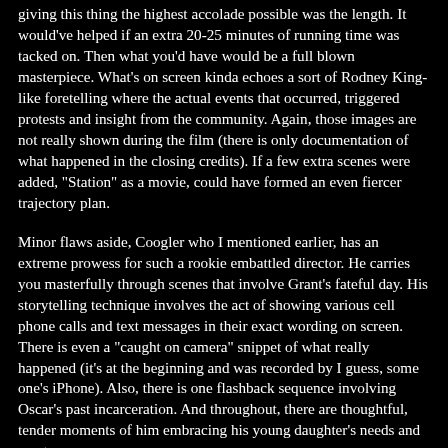giving this thing the highest accolade possible was the length. It would've helped if an extra 20-25 minutes of running time was tacked on. Then what you'd have would be a full blown masterpiece. What's on screen kinda echoes a sort of Rodney King-like foretelling where the actual events that occurred, triggered protests and insight from the community. Again, those images are not really shown during the film (there is only documentation of what happened in the closing credits). If a few extra scenes were added, "Station" as a movie, could have formed an even fiercer trajectory plan.
Minor flaws aside, Coogler who I mentioned earlier, has an extreme prowess for such a rookie embattled director. He carries you masterfully through scenes that involve Grant's fateful day. His storytelling technique involves the act of showing various cell phone calls and text messages in their exact wording on screen. There is even a "caught on camera" snippet of what really happened (it's at the beginning and was recorded by I guess, some one's iPhone). Also, there is one flashback sequence involving Oscar's past incarceration. And throughout, there are thoughtful, tender moments of him embracing his young daughter's needs and wants.